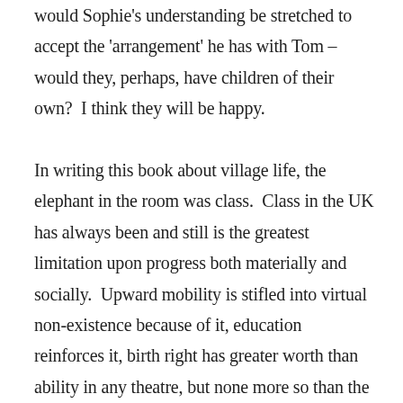would Sophie's understanding be stretched to accept the 'arrangement' he has with Tom – would they, perhaps, have children of their own?  I think they will be happy.

In writing this book about village life, the elephant in the room was class.  Class in the UK has always been and still is the greatest limitation upon progress both materially and socially.  Upward mobility is stifled into virtual non-existence because of it, education reinforces it, birth right has greater worth than ability in any theatre, but none more so than the English village.  If there is a single thought to